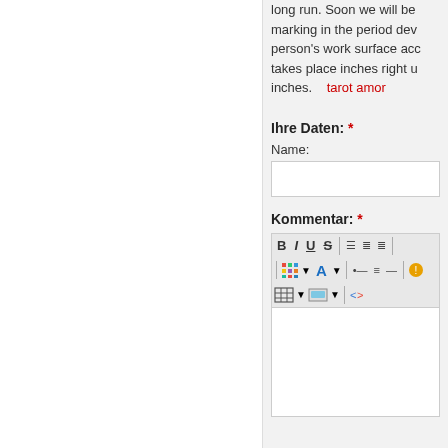long run. Soon we will be marking in the period developing person's work surface accommodates takes place inches right up inches.   tarot amor
Ihre Daten: *
Name:
[Figure (screenshot): Text input field for Name]
Kommentar: *
[Figure (screenshot): Rich text editor toolbar with Bold, Italic, Underline, Strikethrough, alignment, color, list, and other formatting buttons, followed by empty text area]